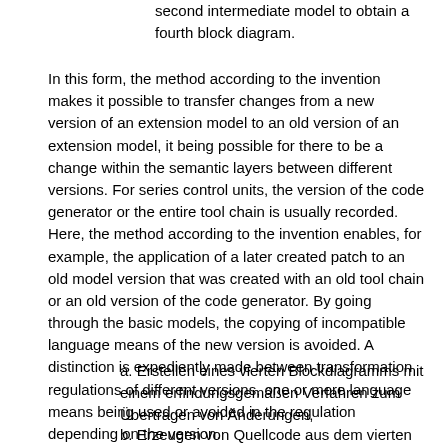second intermediate model to obtain a fourth block diagram.
In this form, the method according to the invention makes it possible to transfer changes from a new version of an extension model to an old version of an extension model, it being possible for there to be a change within the semantic layers between different versions. For series control units, the version of the code generator or the entire tool chain is usually recorded. Here, the method according to the invention enables, for example, the application of a later created patch to an old model version that was created with an old tool chain or an old version of the code generator. By going through the basic models, the copying of incompatible language means of the new version is avoided. A distinction is expediently made between transformation regulations of different versions, one or more language means being used or avoided in the regulation depending on the version.
a. Erstellen eines vierten Blockdiagramms mit einem erfindungsgemäßen Verfahren zum Übertragen von Änderungen,
b. Erzeugen von Quellcode aus dem vierten